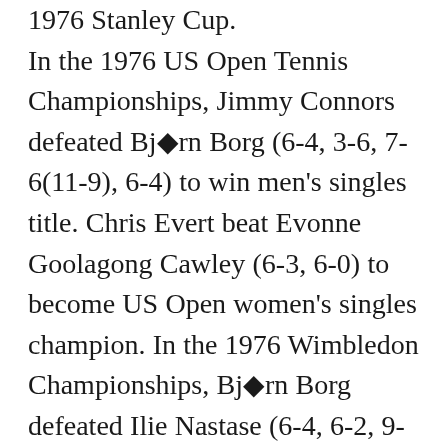1976 Stanley Cup. In the 1976 US Open Tennis Championships, Jimmy Connors defeated Bjørn Borg (6-4, 3-6, 7-6(11-9), 6-4) to win men's singles title. Chris Evert beat Evonne Goolagong Cawley (6-3, 6-0) to become US Open women's singles champion. In the 1976 Wimbledon Championships, Bjørn Borg defeated Ilie Nastase (6-4, 6-2, 9-7) to win men's singles title. Chris Evert beat Evonne Goolagong Cawley (6-3, 4-6, 8-6) to become Wimbledon women's singles champion. In the 1976 French Open (Roland-Garros), Adriano Panatta defeated Harold Solomon (6-1, 6-4, 4-6, 7-6(7-3)) to win